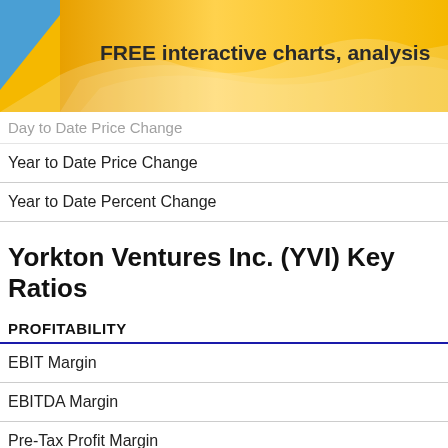[Figure (illustration): Yellow and blue banner with text 'FREE interactive charts, analysis']
Year to Date Price Change
Year to Date Percent Change
Yorkton Ventures Inc. (YVI) Key Ratios
PROFITABILITY
EBIT Margin
EBITDA Margin
Pre-Tax Profit Margin
Profit Margin Count